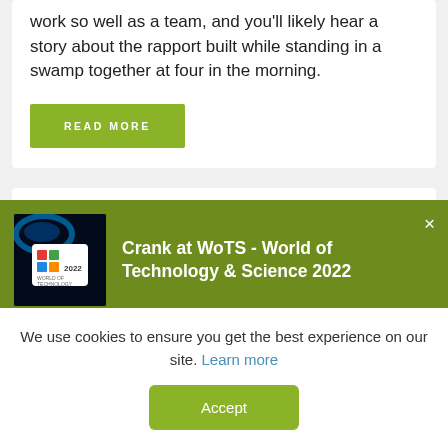work so well as a team, and you'll likely hear a story about the rapport built while standing in a swamp together at four in the morning.
READ MORE
[Figure (infographic): Green advertisement banner for 'Crank at WoTS - World of Technology & Science 2022' with logo image on dark blue/space background on the left and white bold text on the right, with a close (×) button.]
Crank at WoTS - World of Technology & Science 2022
We use cookies to ensure you get the best experience on our site. Learn more
Accept